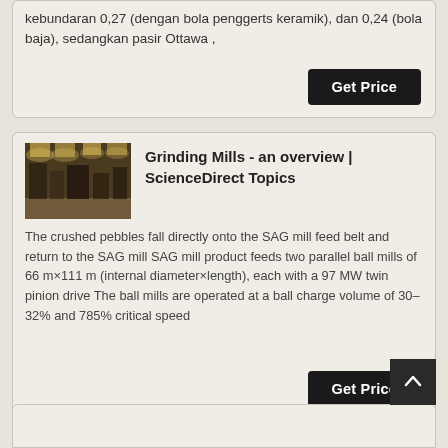kebundaran 0,27 (dengan bola penggerts keramik), dan 0,24 (bola baja), sedangkan pasir Ottawa ,
Get Price
[Figure (photo): Photo of a grinding mill facility interior showing industrial equipment and lighting]
Grinding Mills - an overview | ScienceDirect Topics
The crushed pebbles fall directly onto the SAG mill feed belt and return to the SAG mill SAG mill product feeds two parallel ball mills of 66 m×111 m (internal diameter×length), each with a 97 MW twin pinion drive The ball mills are operated at a ball charge volume of 30–32% and 785% critical speed
Get Price